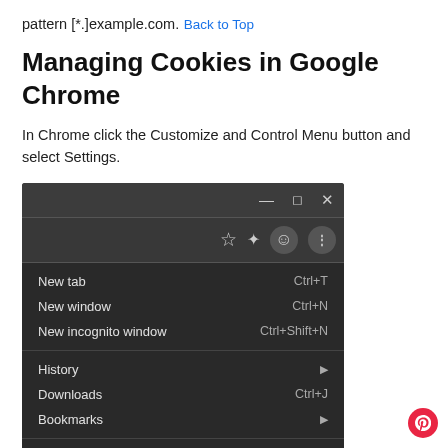pattern [*.]example.com.
Back to Top
Managing Cookies in Google Chrome
In Chrome click the Customize and Control Menu button and select Settings.
[Figure (screenshot): Screenshot of Google Chrome browser menu showing options: New tab (Ctrl+T), New window (Ctrl+N), New incognito window (Ctrl+Shift+N), History, Downloads (Ctrl+J), Bookmarks, and Zoom at 100%.]